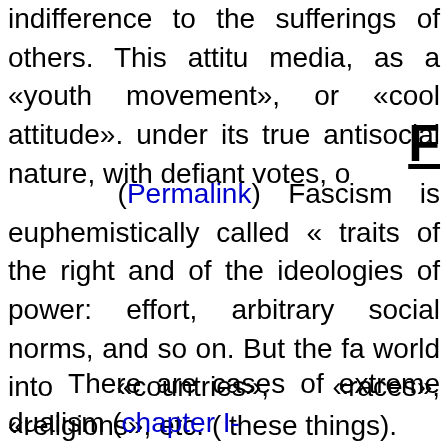indifference to the sufferings of others. This attitude media, as a «youth movement», or «cool attitude». under its true antisocial nature, with defiant votes, o
F
(Permalink) Fascism is euphemistically called «... traits of the right and of the ideologies of power: effort, arbitrary social norms, and so on. But the fa world into «countries», «races», «religions», etc. (W these things).
There are cases of extreme dualism (chapter I-3 most often leads to fascism is sociopathy, hate o content with hiding from the plebeians in luxury vil finding pretexts, creating secret polices, laying acc the authoritarian right is neurotic (which does not m always makes them dangerous, even when they ref
Thus fascism (and of course any form of extrem from the other political opinions, from its psychotic a psychiatric disease, an asocial party to be forbid even when it hides under «democratic» forms.